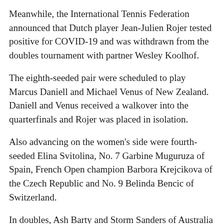Meanwhile, the International Tennis Federation announced that Dutch player Jean-Julien Rojer tested positive for COVID-19 and was withdrawn from the doubles tournament with partner Wesley Koolhof.
The eighth-seeded pair were scheduled to play Marcus Daniell and Michael Venus of New Zealand. Daniell and Venus received a walkover into the quarterfinals and Rojer was placed in isolation.
Also advancing on the women's side were fourth-seeded Elina Svitolina, No. 7 Garbine Muguruza of Spain, French Open champion Barbora Krejcikova of the Czech Republic and No. 9 Belinda Bencic of Switzerland.
In doubles, Ash Barty and Storm Sanders of Australia beat the Chinese pair of Xu Yifan and Yang Zhaoxuan 6-4, 6-4 a day after the top-ranked Barty was eliminated from the singles competition.